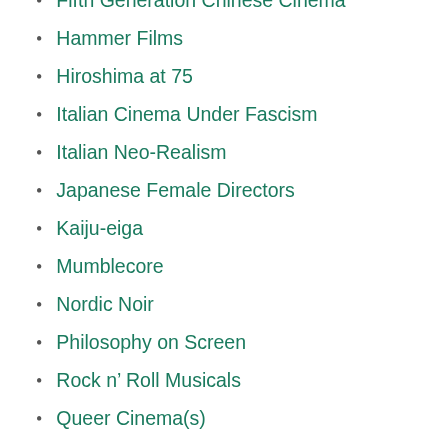Fifth Generation Chinese Cinema
Hammer Films
Hiroshima at 75
Italian Cinema Under Fascism
Italian Neo-Realism
Japanese Female Directors
Kaiju-eiga
Mumblecore
Nordic Noir
Philosophy on Screen
Rock n’ Roll Musicals
Queer Cinema(s)
Scandinavian Silent Cinema
Screwball Comedy
Singing Cowboys
The Birth of Cinema
The Cannon Group
The Female Gaze
The Films of May ’68